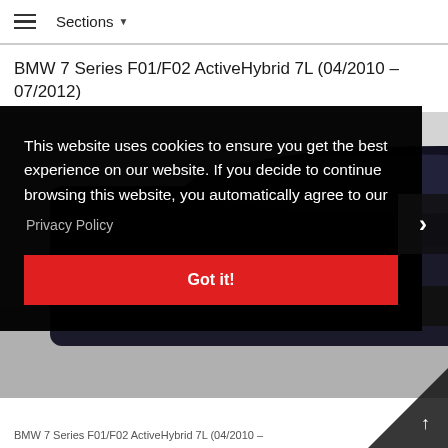Sections
BMW 7 Series F01/F02 ActiveHybrid 7L (04/2010 – 07/2012)
[Figure (photo): Rear view of a BMW 7 Series vehicle on a parking lot, partially obscured by a cookie consent overlay dialog.]
This website uses cookies to ensure you get the best experience on our website. If you decide to continue browsing this website, you automatically agree to our
Privacy Policy
Got it!
BMW 7 Series F01/F02 ActiveHybrid 7L (04/2010 – 07/2012)